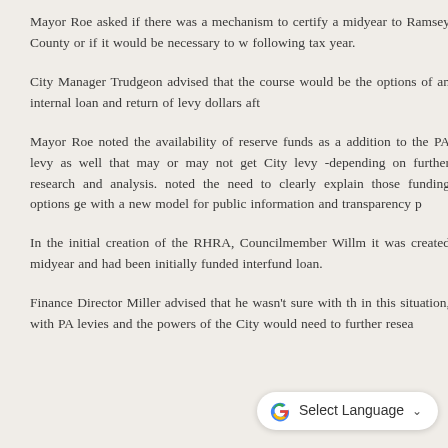Mayor Roe asked if there was a mechanism to certify a midyear to Ramsey County or if it would be necessary to wait until the following tax year.
City Manager Trudgeon advised that the course would be to discuss the options of an internal loan and return of levy dollars after year-end.
Mayor Roe noted the availability of reserve funds as a potential addition to the PA levy as well that may or may not get added to the City levy -depending on further research and analysis. Mayor Roe noted the need to clearly explain those funding options going forward with a new model for public information and transparency purpose.
In the initial creation of the RHRA, Councilmember Willm... it was created midyear and had been initially funded with an interfund loan.
Finance Director Miller advised that he wasn't sure with th... in this situation, with PA levies and the powers of the City ... would need to further resea...